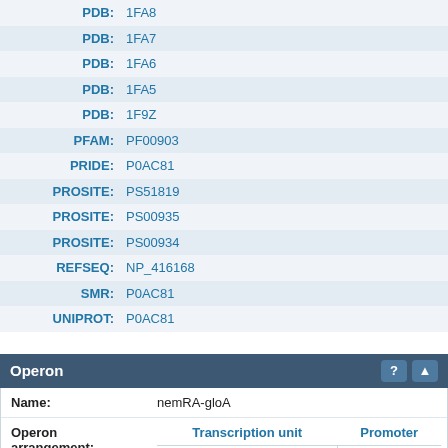| Key | Value |
| --- | --- |
| PDB: | 1FA8 |
| PDB: | 1FA7 |
| PDB: | 1FA6 |
| PDB: | 1FA5 |
| PDB: | 1F9Z |
| PFAM: | PF00903 |
| PRIDE: | P0AC81 |
| PROSITE: | PS51819 |
| PROSITE: | PS00935 |
| PROSITE: | PS00934 |
| REFSEQ: | NP_416168 |
| SMR: | P0AC81 |
| UNIPROT: | P0AC81 |
Operon
Name: nemRA-gloA
| Transcription unit | Promoter |
| --- | --- |
| nemRA | nemRp |
| nemRA-gloA | nemRp |
| gloA | gloAp |
| nemA |  |
| ydhM |  |